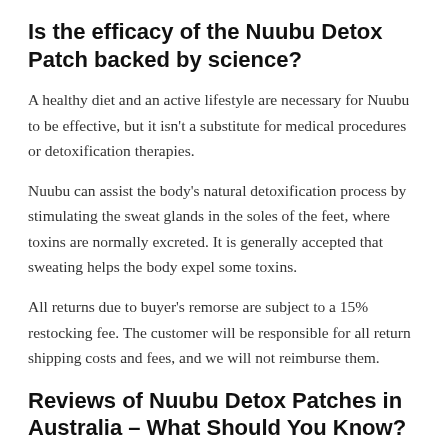Is the efficacy of the Nuubu Detox Patch backed by science?
A healthy diet and an active lifestyle are necessary for Nuubu to be effective, but it isn’t a substitute for medical procedures or detoxification therapies.
Nuubu can assist the body’s natural detoxification process by stimulating the sweat glands in the soles of the feet, where toxins are normally excreted. It is generally accepted that sweating helps the body expel some toxins.
All returns due to buyer’s remorse are subject to a 15% restocking fee. The customer will be responsible for all return shipping costs and fees, and we will not reimburse them.
Reviews of Nuubu Detox Patches in Australia – What Should You Know?
When it comes to purchasing Nuubu detox patches, Australian residents